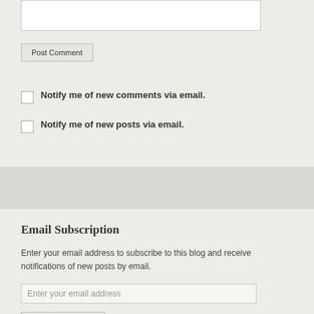[Figure (other): Text area input box (comment field)]
Post Comment
Notify me of new comments via email.
Notify me of new posts via email.
Email Subscription
Enter your email address to subscribe to this blog and receive notifications of new posts by email.
[Figure (other): Email address input field with placeholder text 'Enter your email address']
Sign me up!